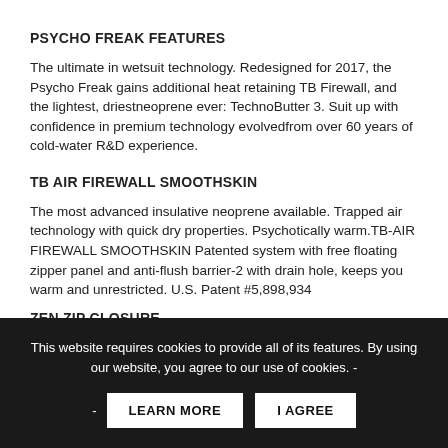PSYCHO FREAK FEATURES
The ultimate in wetsuit technology. Redesigned for 2017, the Psycho Freak gains additional heat retaining TB Firewall, and the lightest, driestneoprene ever: TechnoButter 3. Suit up with confidence in premium technology evolvedfrom over 60 years of cold-water R&D experience.
TB AIR FIREWALL SMOOTHSKIN
The most advanced insulative neoprene available. Trapped air technology with quick dry properties. Psychotically warm.TB-AIR FIREWALL SMOOTHSKIN Patented system with free floating zipper panel and anti-flush barrier-2 with drain hole, keeps you warm and unrestricted. U.S. Patent #5,898,934
ZEN ZIP CLOSURE
This website requires cookies to provide all of its features. By using our website, you agree to our use of cookies. -